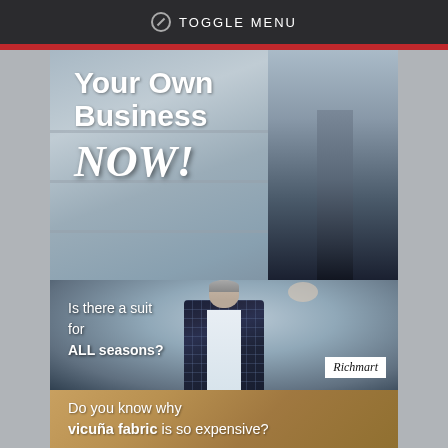⊘ TOGGLE MENU
[Figure (photo): Partial banner showing 'Your Own Business NOW!' text over a background with a suited figure's legs]
[Figure (photo): Man in plaid navy blazer standing in what appears to be a lounge or bar area. Text overlay reads 'Is there a suit for ALL seasons?' with Richmart logo badge.]
Do you know why vicuña fabric is so expensive?